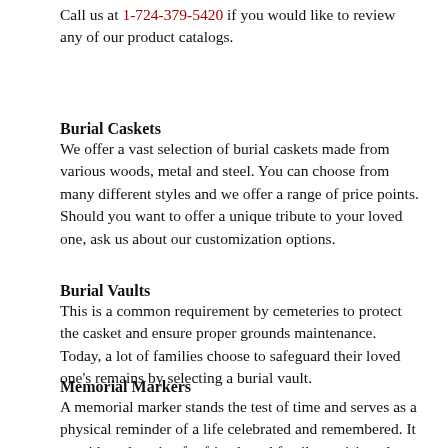Call us at 1-724-379-5420 if you would like to review any of our product catalogs.
Burial Caskets
We offer a vast selection of burial caskets made from various woods, metal and steel. You can choose from many different styles and we offer a range of price points. Should you want to offer a unique tribute to your loved one, ask us about our customization options.
Burial Vaults
This is a common requirement by cemeteries to protect the casket and ensure proper grounds maintenance. Today, a lot of families choose to safeguard their loved one's remains by selecting a burial vault.
Memorial Markers
A memorial marker stands the test of time and serves as a physical reminder of a life celebrated and remembered. It provides a location for friends and family to visit and pay respects for years to come.